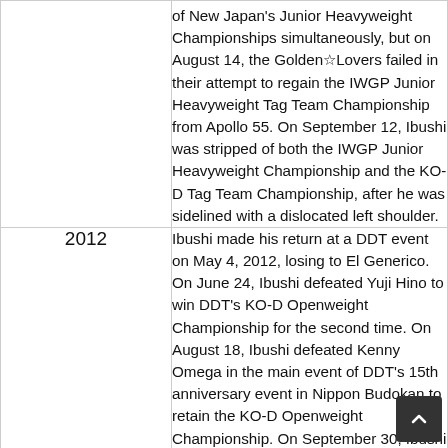| Year | Description |
| --- | --- |
|  | of New Japan's Junior Heavyweight Championships simultaneously, but on August 14, the Golden☆Lovers failed in their attempt to regain the IWGP Junior Heavyweight Tag Team Championship from Apollo 55. On September 12, Ibushi was stripped of both the IWGP Junior Heavyweight Championship and the KO-D Tag Team Championship, after he was sidelined with a dislocated left shoulder. |
| 2012 | Ibushi made his return at a DDT event on May 4, 2012, losing to El Generico. On June 24, Ibushi defeated Yuji Hino to win DDT's KO-D Openweight Championship for the second time. On August 18, Ibushi defeated Kenny Omega in the main event of DDT's 15th anniversary event in Nippon Budokan to retain the KO-D Openweight Championship. On September 30, Ibushi lost the title to El Generico. On October 3, Ibushi won the third annual DDT48 general election and, as a result, earned an immediate rematch with El Generico. Ibushi received his rematch on October 21, but was again defeated by El Generico. On Nov 30 Ibushi Otto also his Kenny O... |